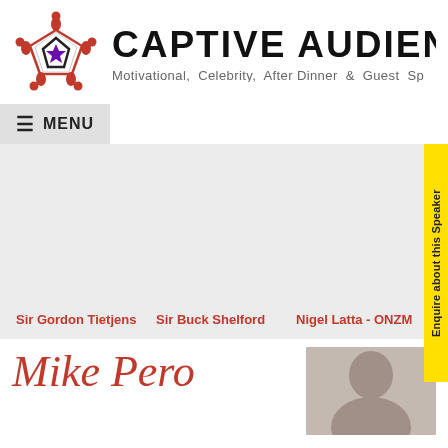[Figure (logo): Captive Audience speaker agency logo — stylized star/people motif in red and purple, with company name and tagline]
CAPTIVE AUDIEN
Motivational, Celebrity, After Dinner & Guest Sp
≡ MENU
Enquire about this Speaker
Sir Gordon Tietjens   Sir Buck Shelford   Nigel Latta - ONZM
Mike Pero
[Figure (photo): Photo of Mike Pero — older man with grey hair]